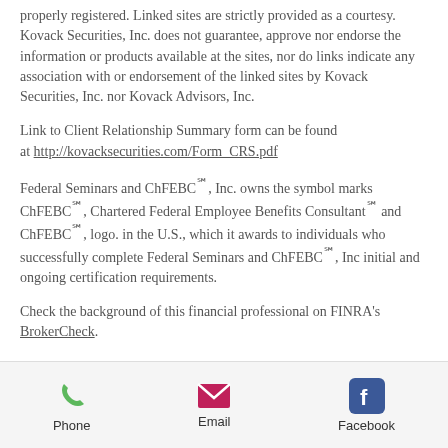properly registered. Linked sites are strictly provided as a courtesy. Kovack Securities, Inc. does not guarantee, approve nor endorse the information or products available at the sites, nor do links indicate any association with or endorsement of the linked sites by Kovack Securities, Inc. nor Kovack Advisors, Inc.
Link to Client Relationship Summary form can be found at http://kovacksecurities.com/Form_CRS.pdf
Federal Seminars and ChFEBC℠, Inc. owns the symbol marks ChFEBC℠, Chartered Federal Employee Benefits Consultant℠ and ChFEBC℠, logo. in the U.S., which it awards to individuals who successfully complete Federal Seminars and ChFEBC℠, Inc initial and ongoing certification requirements.
Check the background of this financial professional on FINRA's BrokerCheck.
[Figure (other): Footer bar with Phone, Email, and Facebook contact icons and labels]